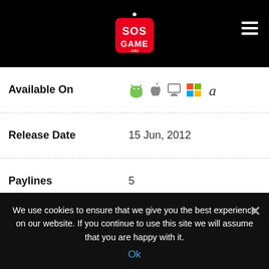[Figure (logo): SOS Game logo in red square with white text, on black header bar with hamburger menu icon]
| Field | Value |
| --- | --- |
| Available On | Android, iOS, PC, Windows, Amazon (icons) |
| Release Date | 15 Jun, 2012 |
| Paylines | 5 |
| Reels | 3 |
| Minimum Bet | 0.05 |
| Maximum Bet | 50.00 |
| Slot RTP | 93.00% |
| Bonus Game | Wild Symbol |
| Jackpot | 1000 Coins |
We use cookies to ensure that we give you the best experience on our website. If you continue to use this site we will assume that you are happy with it.
Ok